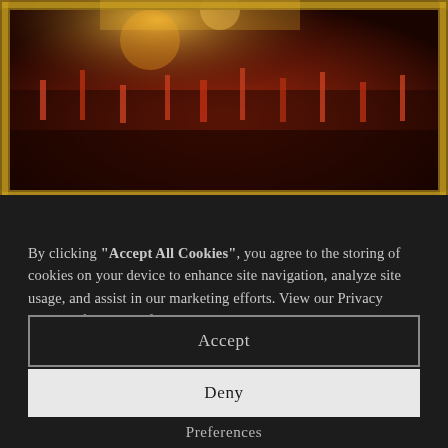[Figure (photo): Concert crowd photo with warm orange and red tones, framed in a golden ornate border. Dense crowd with raised hands illuminated by stage lighting.]
By clicking "Accept All Cookies", you agree to the storing of cookies on your device to enhance site navigation, analyze site usage, and assist in our marketing efforts. View our Privacy Policy   for more information.
Accept
Deny
Preferences